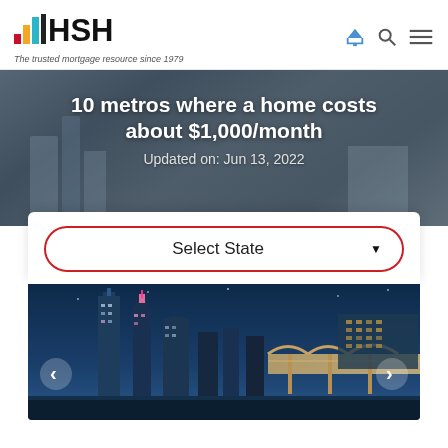[Figure (logo): HSH logo with colored bar chart icon and text 'HSH']
The trusted mortgage resource since 1979
10 metros where a home costs about $1,000/month
Updated on: Jun 13, 2022
Select State
[Figure (photo): City skyline at night, Cleveland Ohio with bridge and colorful lit skyscrapers]